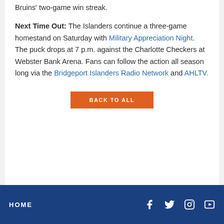Bruins' two-game win streak.
Next Time Out: The Islanders continue a three-game homestand on Saturday with Military Appreciation Night. The puck drops at 7 p.m. against the Charlotte Checkers at Webster Bank Arena. Fans can follow the action all season long via the Bridgeport Islanders Radio Network and AHLTV.
BACK TO ALL
HOME